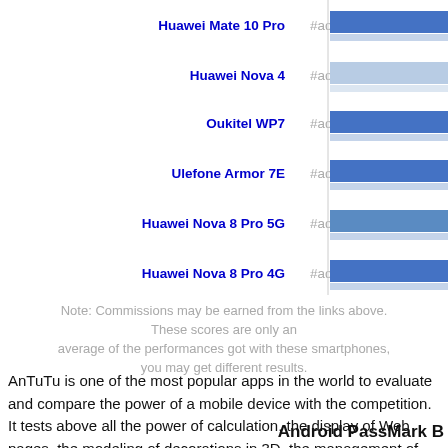[Figure (bar-chart): AnTuTu Benchmark Comparison]
Note: Commissions may be earned from the links above. These scores are only an average of the performances got with these smartphones, you may get different results.
AnTuTu is one of the most popular apps in the world to evaluate and compare the power of a mobile device with the competition. It tests above all the power of calculation, the display of Web pages, the modeling of decorations in 3D, the management of the memory, the transfer of data.
Android PassMark R...